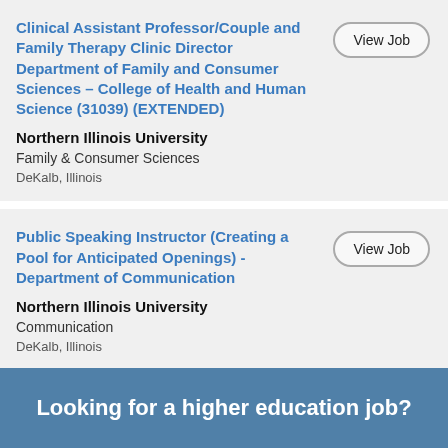Clinical Assistant Professor/Couple and Family Therapy Clinic Director Department of Family and Consumer Sciences – College of Health and Human Science (31039) (EXTENDED)
Northern Illinois University
Family & Consumer Sciences
DeKalb, Illinois
Public Speaking Instructor (Creating a Pool for Anticipated Openings) - Department of Communication
Northern Illinois University
Communication
DeKalb, Illinois
« Previous - 1 to 14 - Next »
Sort by: Date Posted
Looking for a higher education job?